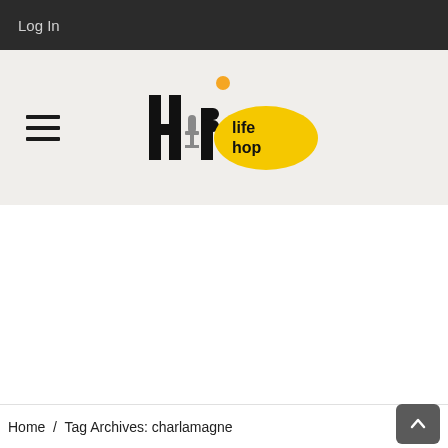Log In
[Figure (logo): HipLifeHop logo — stylized 'Hip' text with a microphone for the letter 'i', yellow oval containing 'life hop' text in black, orange dot above]
Home / Tag Archives: charlamagne